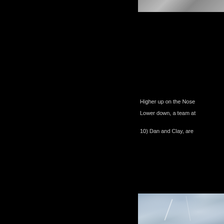[Figure (photo): Partial view of a rock face photograph at top right, cropped]
Higher up on the Nose
Lower down, a team at
10)  Dan and Clay, are
[Figure (photo): Close-up photograph of a granite rock face with blue-grey tones, showing vertical crack lines]